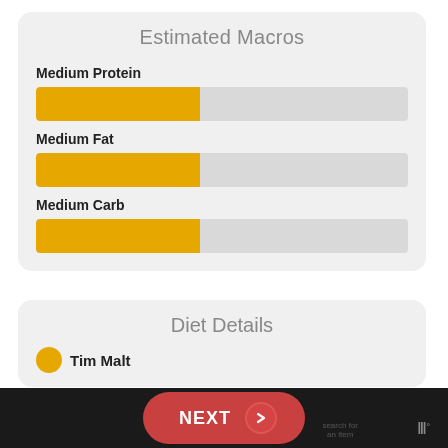Estimated Macros
Medium Protein
[Figure (bar-chart): Horizontal progress bar showing Medium Protein at approximately 44%]
Medium Fat
[Figure (bar-chart): Horizontal progress bar showing Medium Fat at approximately 44%]
Medium Carb
[Figure (bar-chart): Horizontal progress bar showing Medium Carb at approximately 44%]
Diet Details
Tim Malt...
NEXT